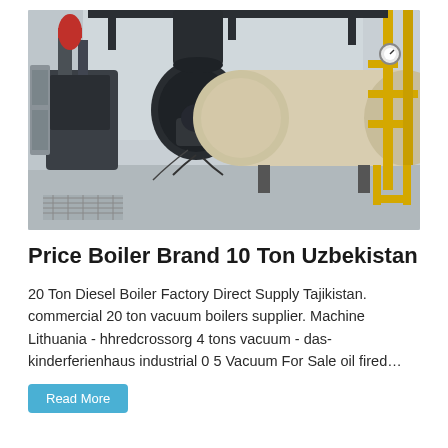[Figure (photo): Industrial boiler room with large cylindrical boilers, black burner units, yellow gas piping, gauges, and metal framework. The boilers are beige/cream colored horizontal cylinders mounted on steel legs.]
Price Boiler Brand 10 Ton Uzbekistan
20 Ton Diesel Boiler Factory Direct Supply Tajikistan. commercial 20 ton vacuum boilers supplier. Machine Lithuania - hhredcrossorg 4 tons vacuum - das-kinderferienhaus industrial 0 5 Vacuum For Sale oil fired…